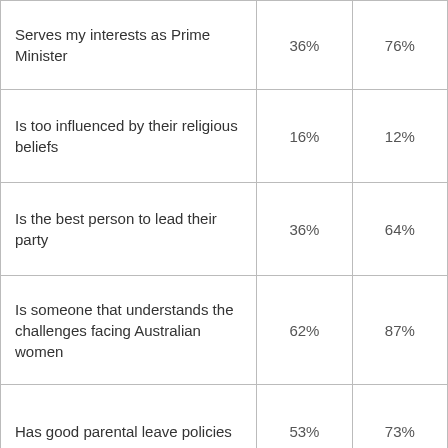|  | Col1 | Col2 |
| --- | --- | --- |
| Serves my interests as Prime Minister | 36% | 76% |
| Is too influenced by their religious beliefs | 16% | 12% |
| Is the best person to lead their party | 36% | 64% |
| Is someone that understands the challenges facing Australian women | 62% | 87% |
| Has good parental leave policies | 53% | 73% |
| Has difficulty controlling their aggression | 25% | 12% |